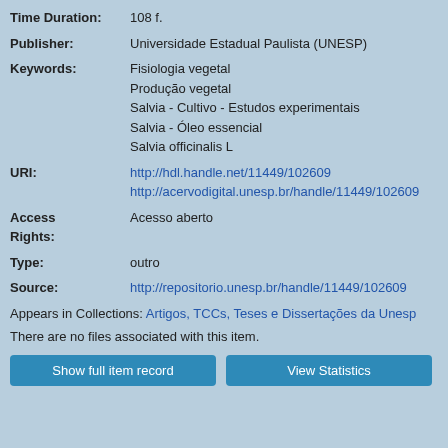Time Duration: 108 f.
Publisher: Universidade Estadual Paulista (UNESP)
Keywords: Fisiologia vegetal; Produção vegetal; Salvia - Cultivo - Estudos experimentais; Salvia - Óleo essencial; Salvia officinalis L
URI: http://hdl.handle.net/11449/102609 http://acervodigital.unesp.br/handle/11449/102609
Access Rights: Acesso aberto
Type: outro
Source: http://repositorio.unesp.br/handle/11449/102609
Appears in Collections: Artigos, TCCs, Teses e Dissertações da Unesp
There are no files associated with this item.